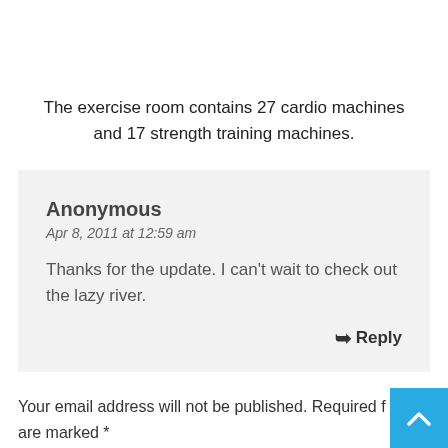The exercise room contains 27 cardio machines and 17 strength training machines.
Anonymous
Apr 8, 2011 at 12:59 am
Thanks for the update. I can't wait to check out the lazy river.
Reply
Your email address will not be published. Required fields are marked *
Comment *